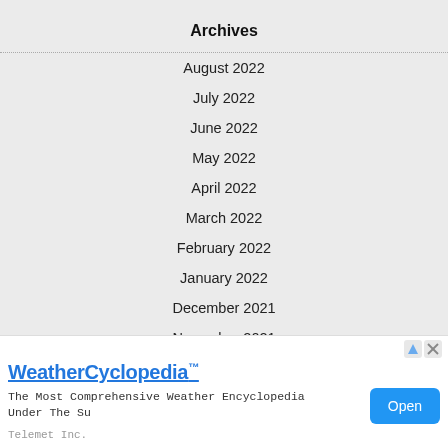Archives
August 2022
July 2022
June 2022
May 2022
April 2022
March 2022
February 2022
January 2022
December 2021
November 2021
[Figure (screenshot): Advertisement banner for WeatherCyclopedia by Telemet Inc. with blue 'Open' button. Text reads: WeatherCyclopedia™ — The Most Comprehensive Weather Encyclopedia Under The Su]